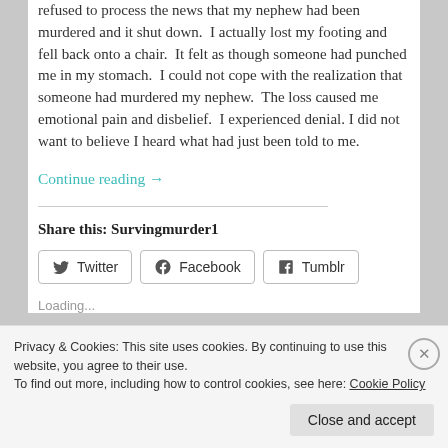refused to process the news that my nephew had been murdered and it shut down. I actually lost my footing and fell back onto a chair. It felt as though someone had punched me in my stomach. I could not cope with the realization that someone had murdered my nephew. The loss caused me emotional pain and disbelief. I experienced denial. I did not want to believe I heard what had just been told to me.
Continue reading →
Share this: Survingmurder1
Twitter  Facebook  Tumblr
Loading...
Privacy & Cookies: This site uses cookies. By continuing to use this website, you agree to their use.
To find out more, including how to control cookies, see here: Cookie Policy
Close and accept